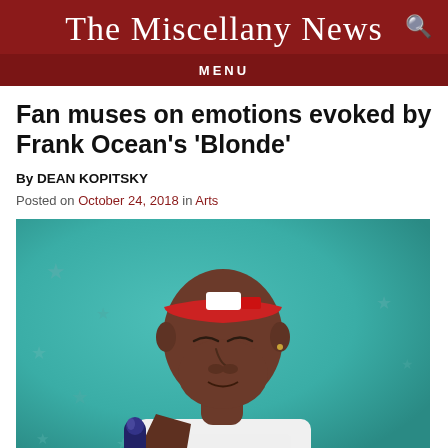The Miscellany News
Fan muses on emotions evoked by Frank Ocean's 'Blonde'
By DEAN KOPITSKY
Posted on October 24, 2018 in Arts
[Figure (photo): Frank Ocean performing on stage, holding a microphone close to his mouth, wearing a red and white headband and white t-shirt, with a teal/turquoise background featuring blue stars]